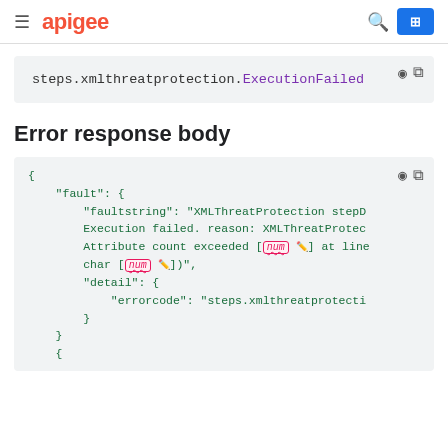apigee
steps.xmlthreatprotection.ExecutionFailed
Error response body
{
    "fault": {
        "faultstring": "XMLThreatProtection stepD Execution failed. reason: XMLThreatProtec Attribute count exceeded [num] at line char [num])",
        "detail": {
            "errorcode": "steps.xmlthreatprotecti
        }
    }
}